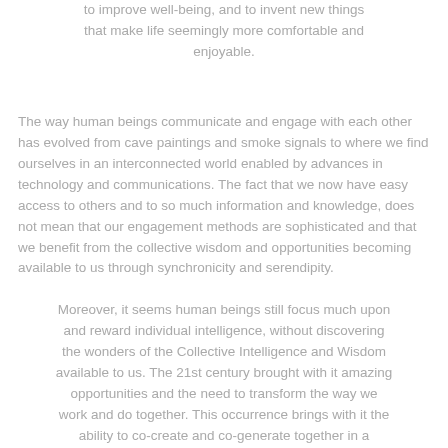to improve well-being, and to invent new things that make life seemingly more comfortable and enjoyable.
The way human beings communicate and engage with each other has evolved from cave paintings and smoke signals to where we find ourselves in an interconnected world enabled by advances in technology and communications. The fact that we now have easy access to others and to so much information and knowledge, does not mean that our engagement methods are sophisticated and that we benefit from the collective wisdom and opportunities becoming available to us through synchronicity and serendipity.
Moreover, it seems human beings still focus much upon and reward individual intelligence, without discovering the wonders of the Collective Intelligence and Wisdom available to us. The 21st century brought with it amazing opportunities and the need to transform the way we work and do together. This occurrence brings with it the ability to co-create and co-generate together in a